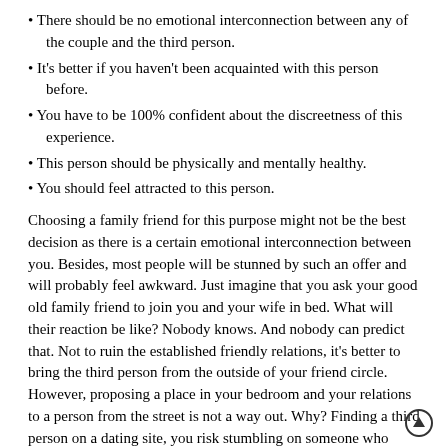There should be no emotional interconnection between any of the couple and the third person.
It's better if you haven't been acquainted with this person before.
You have to be 100% confident about the discreetness of this experience.
This person should be physically and mentally healthy.
You should feel attracted to this person.
Choosing a family friend for this purpose might not be the best decision as there is a certain emotional interconnection between you. Besides, most people will be stunned by such an offer and will probably feel awkward. Just imagine that you ask your good old family friend to join you and your wife in bed. What will their reaction be like? Nobody knows. And nobody can predict that. Not to ruin the established friendly relations, it's better to bring the third person from the outside of your friend circle. However, proposing a place in your bedroom and your relations to a person from the street is not a way out. Why? Finding a third person on a dating site, you risk stumbling on someone who might not be safe for you one way or the other. So what's the best solution for a couple who wants to experiment, asking a third person to their bed. Escorts for couples are the answer. By inviting a professional escort to complete this mission, you can get the maximum of this